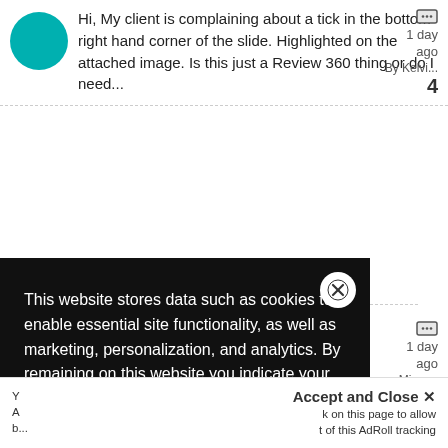Hi, My client is complaining about a tick in the bottom right hand corner of the slide. Highlighted on the attached image. Is this just a Review 360 thing or do I need...
1 day ago
By Kelvi...
4
Closed captions text missing
1 day ago
y Micro...
4
This website stores data such as cookies to enable essential site functionality, as well as marketing, personalization, and analytics. By remaining on this website you indicate your consent.
Privacy Notice
Accept and Close ✕
k on this page to allow t of this AdRoll tracking